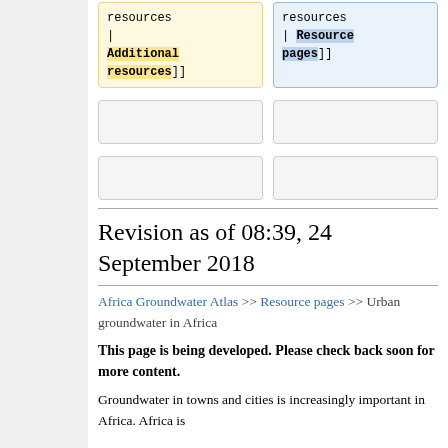[Figure (screenshot): Two code/wiki markup boxes side by side. Left box (yellow background): 'resources | Additional resources]]'. Right box (blue background): 'resources | Resource pages]]']
[Figure (other): Two rows of two placeholder grey rounded rectangle boxes]
Revision as of 08:39, 24 September 2018
Africa Groundwater Atlas >> Resource pages >> Urban groundwater in Africa
This page is being developed. Please check back soon for more content.
Groundwater in towns and cities is increasingly important in Africa. Africa is